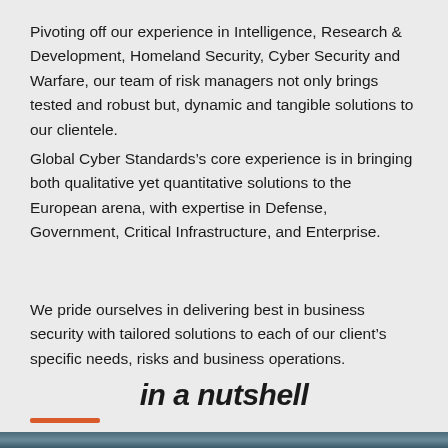Pivoting off our experience in Intelligence, Research & Development, Homeland Security, Cyber Security and Warfare, our team of risk managers not only brings tested and robust but, dynamic and tangible solutions to our clientele.
Global Cyber Standards’s core experience is in bringing both qualitative yet quantitative solutions to the European arena, with expertise in Defense, Government, Critical Infrastructure, and Enterprise.
We pride ourselves in delivering best in business security with tailored solutions to each of our client’s specific needs, risks and business operations.
in a nutshell
[Figure (photo): Partial photo strip visible at bottom of page, showing a dark cybersecurity-themed image]